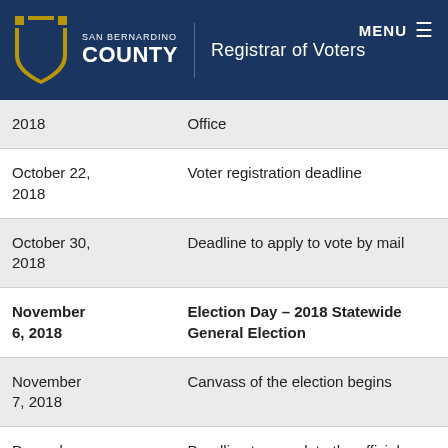San Bernardino County — Registrar of Voters
| Date | Event |
| --- | --- |
| 2018 | Office |
| October 22, 2018 | Voter registration deadline |
| October 30, 2018 | Deadline to apply to vote by mail |
| November 6, 2018 | Election Day – 2018 Statewide General Election |
| November 7, 2018 | Canvass of the election begins |
| December 6, 2018 | Deadline to complete the official canvass and certify the results |